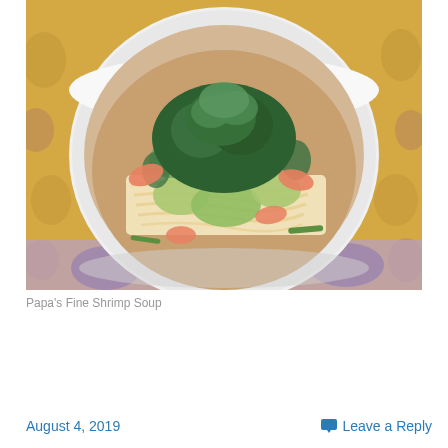[Figure (photo): A white bowl filled with shrimp noodle soup topped with bok choy, shrimp, noodles, and fresh cilantro/green herbs, placed on a floral yellow and purple patterned tablecloth.]
Papa's Fine Shrimp Soup
Continue reading →
August 4, 2019
Leave a Reply